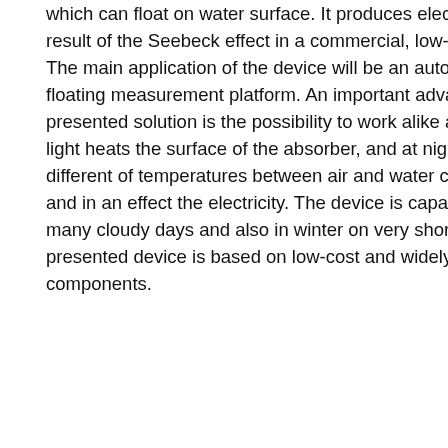which can float on water surface. It produces electrical energy as a result of the Seebeck effect in a commercial, low-cost Peltier module. The main application of the device will be an autonomous and a floating measurement platform. An important advantage of the presented solution is the possibility to work alike at day, when a solar light heats the surface of the absorber, and at night, when the different of temperatures between air and water causes the heat flux and in an effect the electricity. The device is capable of working for many cloudy days and also in winter on very short days. The presented device is based on low-cost and widely available components.
[Figure (other): Partial figure showing a red element partially visible at top right corner of the page.]